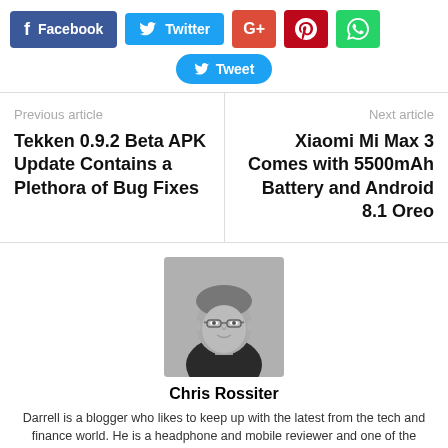[Figure (infographic): Social sharing buttons: Facebook, Twitter, G+, Pinterest, WhatsApp, and a Tweet button]
Previous article
Tekken 0.9.2 Beta APK Update Contains a Plethora of Bug Fixes
Next article
Xiaomi Mi Max 3 Comes with 5500mAh Battery and Android 8.1 Oreo
[Figure (photo): Black and white headshot photo of Chris Rossiter wearing glasses]
Chris Rossiter
Darrell is a blogger who likes to keep up with the latest from the tech and finance world. He is a headphone and mobile reviewer and one of the original baker's dozen editorial staff that founded the site. He is into photography, VR, AR, crypto, video games, science and other neat things.